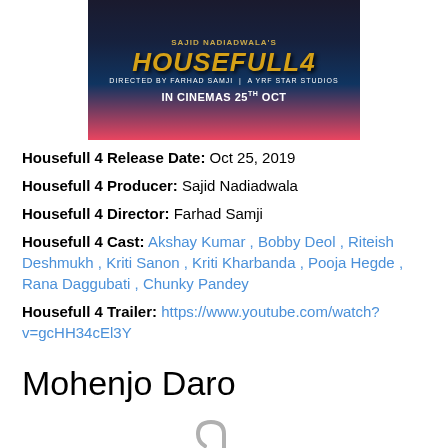[Figure (photo): Housefull 4 movie poster showing 'IN CINEMAS 25TH OCT' with golden stylized title text on dark background]
Housefull 4 Release Date: Oct 25, 2019
Housefull 4 Producer: Sajid Nadiadwala
Housefull 4 Director: Farhad Samji
Housefull 4 Cast: Akshay Kumar , Bobby Deol , Riteish Deshmukh , Kriti Sanon , Kriti Kharbanda , Pooja Hegde , Rana Daggubati , Chunky Pandey
Housefull 4 Trailer: https://www.youtube.com/watch?v=gcHH34cEl3Y
Mohenjo Daro
[Figure (illustration): Broken image placeholder icon — padlock/tag shape with a circle-slash symbol in gray]